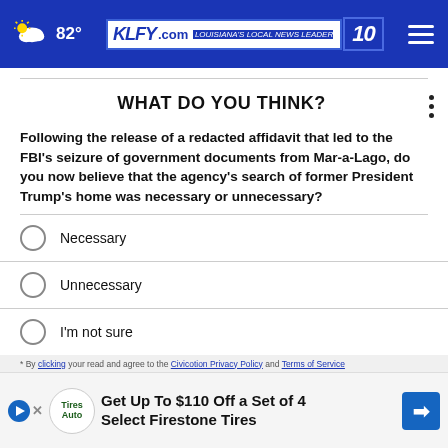82° KLFY.com 10
WHAT DO YOU THINK?
Following the release of a redacted affidavit that led to the FBI's seizure of government documents from Mar-a-Lago, do you now believe that the agency's search of former President Trump's home was necessary or unnecessary?
Necessary
Unnecessary
I'm not sure
Other / No opinion
NEXT *
Get Up To $110 Off a Set of 4 Select Firestone Tires
* By clicking read and agree to the Civicotion Privacy Policy and Terms of Service